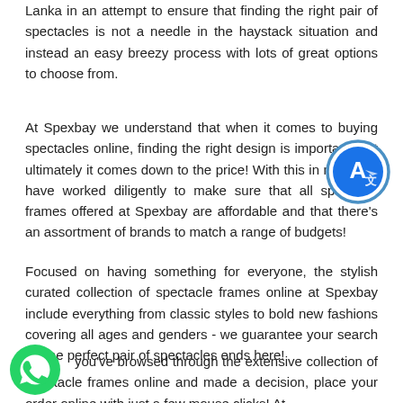Lanka in an attempt to ensure that finding the right pair of spectacles is not a needle in the haystack situation and instead an easy breezy process with lots of great options to choose from.
At Spexbay we understand that when it comes to buying spectacles online, finding the right design is important, but ultimately it comes down to the price! With this in mind, we have worked diligently to make sure that all spectacle frames offered at Spexbay are affordable and that there's an assortment of brands to match a range of budgets!
Focused on having something for everyone, the stylish curated collection of spectacle frames online at Spexbay include everything from classic styles to bold new fashions covering all ages and genders - we guarantee your search for the perfect pair of spectacles ends here!
Once you've browsed through the extensive collection of spectacle frames online and made a decision, place your order online with just a few mouse clicks! At
[Figure (illustration): Microsoft Translator app icon — blue circle with white 'A' and translation symbol]
[Figure (illustration): WhatsApp icon — green circle with white phone/chat symbol]